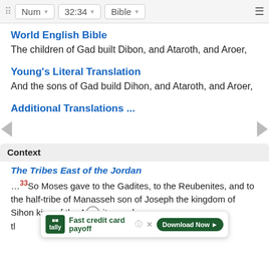Num  32:34  Bible
World English Bible
The children of Gad built Dibon, and Ataroth, and Aroer,
Young's Literal Translation
And the sons of Gad build Dihon, and Ataroth, and Aroer,
Additional Translations ...
Context
The Tribes East of the Jordan
…33So Moses gave to the Gadites, to the Reubenites, and to the half-tribe of Manasseh son of Joseph the kingdom of Sihon king of the Amorites and the kingdom of Og king of Bashan, the land with its cities within the territories, including
[Figure (screenshot): Tally app advertisement banner with text 'Fast credit card payoff' and 'Download Now' button]